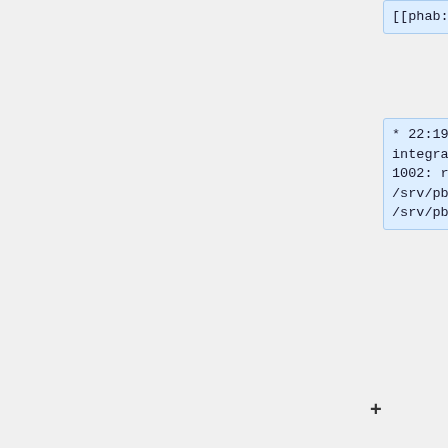[[phab:T232025|T232025]]
* 22:19 hashar: integration-slave-jessie-1002: rm /srv/pbuilder/build/* /srv/pbuilder/aptcache/* /*
* 22:16 hashar: Pooling back integration-slave-jessie-1002